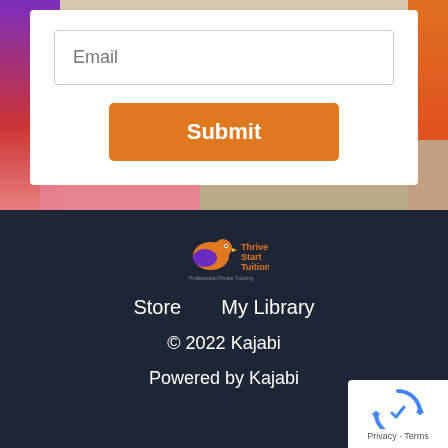[Figure (screenshot): Email input field with placeholder text 'Email' inside a white form card, on a blurred colorful background]
Email
Submit
[Figure (logo): Thrive Start Tuition logo with a bird icon in orange and purple on dark navy background]
Store    My Library
© 2022 Kajabi
Powered by Kajabi
[Figure (other): reCAPTCHA badge with spinning arrows icon and 'Privacy - Terms' text]